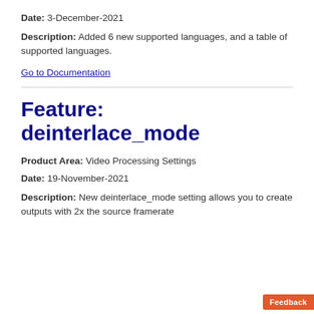Date: 3-December-2021
Description: Added 6 new supported languages, and a table of supported languages.
Go to Documentation
Feature: deinterlace_mode
Product Area: Video Processing Settings
Date: 19-November-2021
Description: New deinterlace_mode setting allows you to create outputs with 2x the source framerate